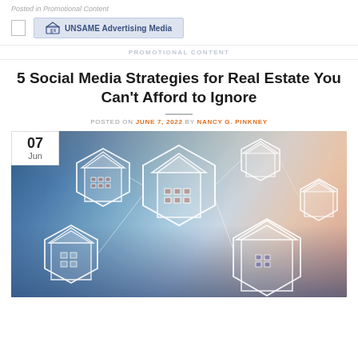Posted in Promotional Content
[Figure (logo): UNSAME Advertising Media logo badge with small building icon]
PROMOTIONAL CONTENT
5 Social Media Strategies for Real Estate You Can’t Afford to Ignore
POSTED ON JUNE 7, 2022 BY NANCY G. PINKNEY
[Figure (photo): Hands typing on a laptop keyboard with floating hexagonal house/real estate icons overlaid in white, showing a digital real estate technology concept. Date badge showing 07 Jun in top left corner.]